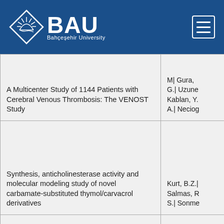[Figure (logo): BAU Bahçeşehir University logo on dark blue header bar with hamburger menu icon]
| Title | Authors |
| --- | --- |
| A Multicenter Study of 1144 Patients with Cerebral Venous Thrombosis: The VENOST Study | M| Gura, G.| Uzune Kablan, Y. A.| Neciog |
| Synthesis, anticholinesterase activity and molecular modeling study of novel carbamate-substituted thymol/carvacrol derivatives | Kurt, B.Z.| Salmas, R S.| Sonme |
| Cholesterol up-regulates neuronal G protein-gated inwardly rectifying potassium (GIRK) channel activity | Bukiyu A |